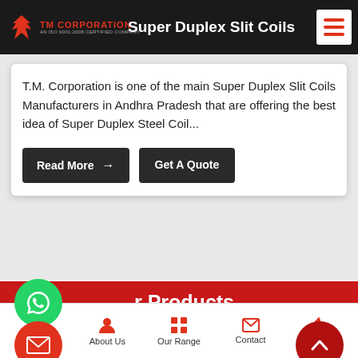TM Corporation – Super Duplex Slit Coils
T.M. Corporation is one of the main Super Duplex Slit Coils Manufacturers in Andhra Pradesh that are offering the best idea of Super Duplex Steel Coil...
Read More →
Get A Quote
Our Products
SUPER DUPLEX 32760 FLANGE / CNC COMPONENTS
SUPER DUPLEX 32750 FLANGE / CNC COMPONENTS
Home | About Us | Our Range | Contact | Call Us